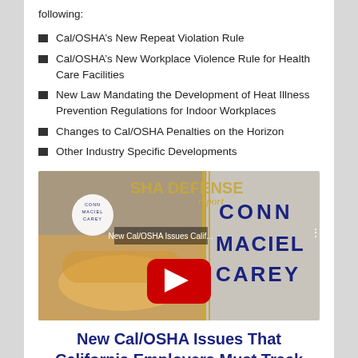following:
Cal/OSHA’s New Repeat Violation Rule
Cal/OSHA’s New Workplace Violence Rule for Health Care Facilities
New Law Mandating the Development of Heat Illness Prevention Regulations for Indoor Workplaces
Changes to Cal/OSHA Penalties on the Horizon
Other Industry Specific Developments
[Figure (screenshot): YouTube video thumbnail showing OSHA Defense Report branding with Conn Maciel Carey logo, hard hat and work boots, titled 'New Cal/OSHA Issues Calif...' with YouTube play button overlay]
New Cal/OSHA Issues That California Employers Must Track
April 11, 2017
ANDREW J. SOMMER    ERIC J. CONN